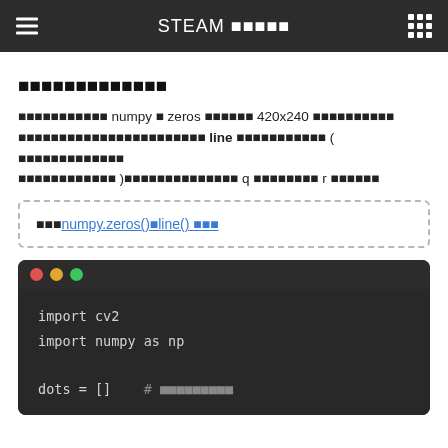STEAM □□□□□
□□□□□□□□□□□□□
□□□□□□□□□□□ numpy □ zeros □□□□□□ 420x240 □□□□□□□□□□ □□□□□□□□□□□□□□□□□□□□□□□ line □□□□□□□□□□□ ( □□□□□□□□□□□□□ □□□□□□□□□□□□ )□□□□□□□□□□□□□□□ q □□□□□□□□ r □□□□□□
□□□numpy.zeros()□line() □□□
[Figure (screenshot): Code editor screenshot showing: import cv2, import numpy as np, dots = []  # □□□□□□□□□]